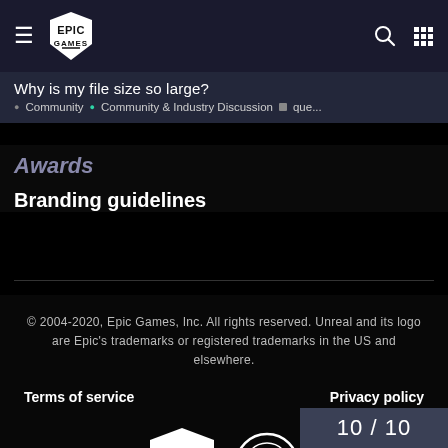Why is my file size so large? • Community • Community & Industry Discussion • que...
Awards
Branding guidelines
© 2004-2020, Epic Games, Inc. All rights reserved. Unreal and its logo are Epic's trademarks or registered trademarks in the US and elsewhere.
Terms of service
Privacy policy
[Figure (logo): Epic Games shield logo and Unreal Engine circle logo]
10 / 10